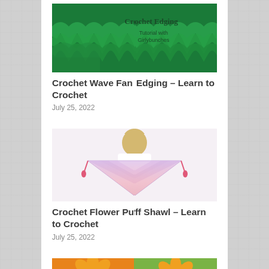[Figure (photo): Crochet Wave Fan Edging tutorial image showing green crochet edging with text 'Crochet Edging Tutorial with Girlybunches']
Crochet Wave Fan Edging – Learn to Crochet
July 25, 2022
[Figure (photo): Person holding a triangular lavender and pink crochet flower puff shawl with pink tassels, shown from behind]
Crochet Flower Puff Shawl – Learn to Crochet
July 25, 2022
[Figure (photo): Orange sunflower crochet squares on green background, partially visible at bottom of page]